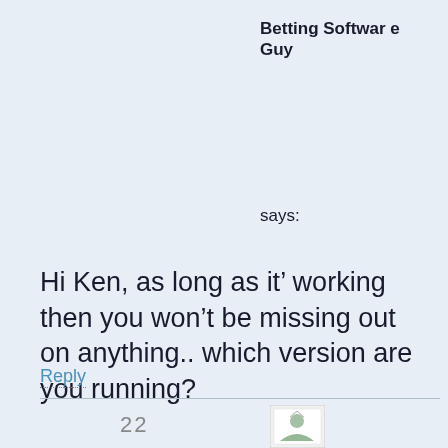Betting Software Guy
says:
Hi Ken, as long as it’ working then you won’t be missing out on anything.. which version are you running?
Reply
[Figure (illustration): Small avatar/profile image icon at bottom right area]